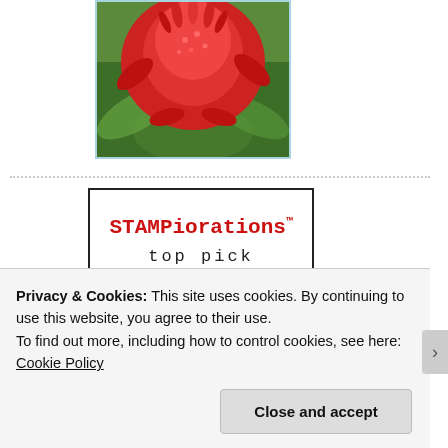[Figure (photo): Close-up photo of a red tropical flower (torch ginger or similar) with a green blurred background, framed with a light blue border.]
[Figure (logo): STAMPiorations™ top pick badge — black border rectangle, red typewriter-style text 'STAMPiorations™' and black monospace text 'top pick' below.]
[Figure (logo): Partial logo image showing a silhouette of a girl figure in black and green/olive text reading 'girls' vertically on the right side.]
Privacy & Cookies: This site uses cookies. By continuing to use this website, you agree to their use.
To find out more, including how to control cookies, see here: Cookie Policy
Close and accept